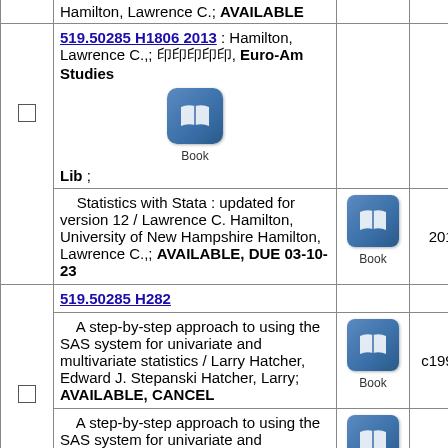|  | Title/Info | Type | Year |
| --- | --- | --- | --- |
|  | Hamilton, Lawrence C.; AVAILABLE |  |  |
|  | 519.50285 H1806 2013 : Hamilton, Lawrence C.,; 図書館, Euro-Am Studies Lib ; | Book |  |
|  | Statistics with Stata : updated for version 12 / Lawrence C. Hamilton, University of New Hampshire Hamilton, Lawrence C.,; AVAILABLE, DUE 03-10-23 | Book | 2013 |
|  | 519.50285 H282 |  |  |
|  | A step-by-step approach to using the SAS system for univariate and multivariate statistics / Larry Hatcher, Edward J. Stepanski Hatcher, Larry; AVAILABLE, CANCEL | Book | c1994 |
|  | A step-by-step approach to using the SAS system for univariate and multivariate statistics / Larry Hatcher, Edward J. Stepanski Hatcher, Larry; AVAILABLE, CANCEL | Book | c1994 |
|  | 519.50285 In8 : Economics Library, | Book |  |